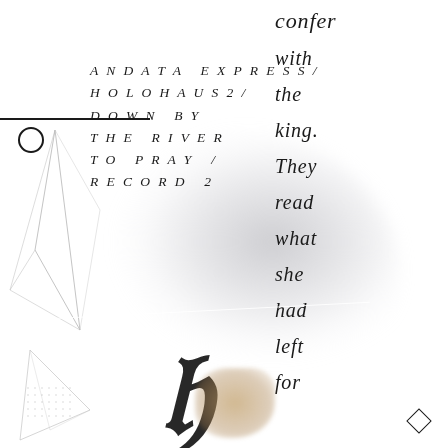ANDATA EXPRESS / HOLOHAUS2 / DOWN BY THE RIVER TO PRAY / RECORD 2
confer with the king. They read what she had left for them.
[Figure (illustration): Abstract geometric line art on the left with thin angular lines forming triangular/crystalline shapes, a blurred gray cloud-like shape in the center-left background, a horizontal rule with circle marker, white diagonal line overlay, decorative large script/calligraphic character at the bottom center, and a diamond shape at bottom right.]